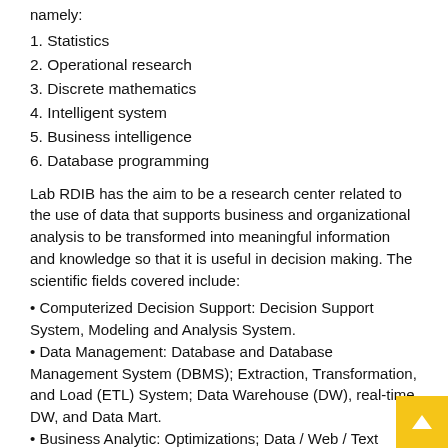namely:
1. Statistics
2. Operational research
3. Discrete mathematics
4. Intelligent system
5. Business intelligence
6. Database programming
Lab RDIB has the aim to be a research center related to the use of data that supports business and organizational analysis to be transformed into meaningful information and knowledge so that it is useful in decision making. The scientific fields covered include:
• Computerized Decision Support: Decision Support System, Modeling and Analysis System.
• Data Management: Database and Database Management System (DBMS); Extraction, Transformation, and Load (ETL) System; Data Warehouse (DW), real-time DW, and Data Mart.
• Business Analytic: Optimizations; Data / Web / Text Mining; Web Analytic; Forecasting
• Knowledge Management: Knowledge Management System, Expert Locating System, Ontology.
• Intelligent Systems: Expert System, Artificial Neural Network, Fuzzy Logic, Genetic Algorithm, Intelligent Agent, Automated...